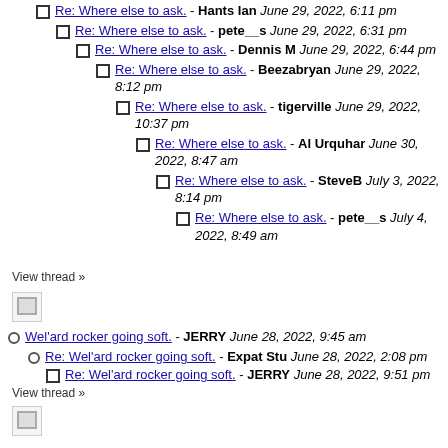Re: Where else to ask. - Hants Ian June 29, 2022, 6:11 pm
Re: Where else to ask. - pete__s June 29, 2022, 6:31 pm
Re: Where else to ask. - Dennis M June 29, 2022, 6:44 pm
Re: Where else to ask. - Beezabryan June 29, 2022, 8:12 pm
Re: Where else to ask. - tigerville June 29, 2022, 10:37 pm
Re: Where else to ask. - Al Urquhar June 30, 2022, 8:47 am
Re: Where else to ask. - SteveB July 3, 2022, 8:14 pm
Re: Where else to ask. - pete__s July 4, 2022, 8:49 am
View thread »
[Figure (photo): Broken image icon]
Wel'ard rocker going soft. - JERRY June 28, 2022, 9:45 am
Re: Wel'ard rocker going soft. - Expat Stu June 28, 2022, 2:08 pm
Re: Wel'ard rocker going soft. - JERRY June 28, 2022, 9:51 pm
View thread »
[Figure (photo): Broken image icon]